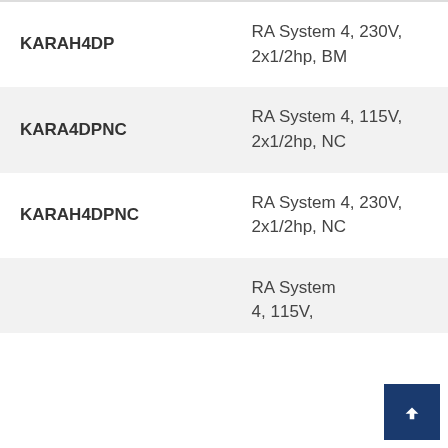| Model | Description |
| --- | --- |
| KARAH4DP | RA System 4, 230V, 2x1/2hp, BM |
| KARA4DPNC | RA System 4, 115V, 2x1/2hp, NC |
| KARAH4DPNC | RA System 4, 230V, 2x1/2hp, NC |
| (partial) | RA System 4, 115V, ... |